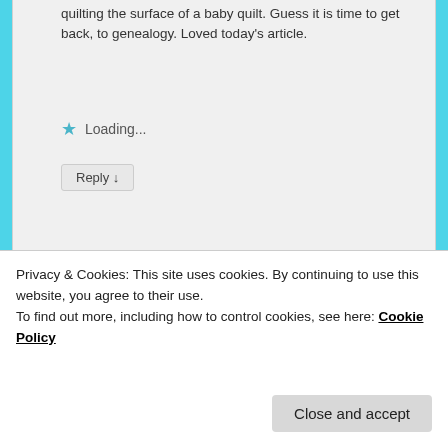quilting the surface of a baby quilt. Guess it is time to get back, to genealogy. Loved today's article.
Loading...
Reply ↓
[Figure (illustration): Pink and white geometric quilt pattern avatar for commenter Jo Fitz-Henry]
Jo Fitz-Henry on March 18, 2020 at 8:17 pm said:
Hi Roberta – I follow Anne Louise Avery
Privacy & Cookies: This site uses cookies. By continuing to use this website, you agree to their use.
To find out more, including how to control cookies, see here: Cookie Policy
Close and accept